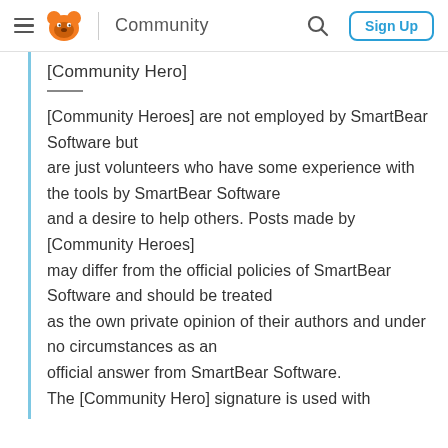Community  Sign Up
[Community Hero]
[Community Heroes] are not employed by SmartBear Software but are just volunteers who have some experience with the tools by SmartBear Software and a desire to help others. Posts made by [Community Heroes] may differ from the official policies of SmartBear Software and should be treated as the own private opinion of their authors and under no circumstances as an official answer from SmartBear Software. The [Community Hero] signature is used with